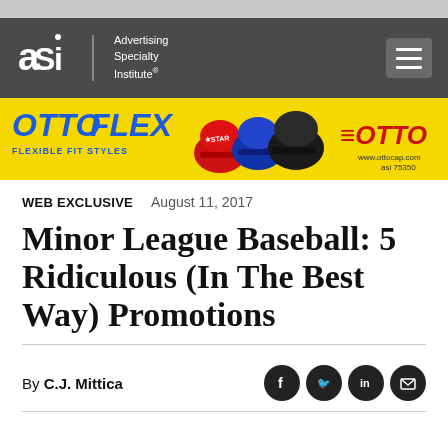[Figure (logo): ASI (Advertising Specialty Institute) logo with text 'Advertising Specialty Institute®' and hamburger menu button on dark grey navigation bar]
[Figure (infographic): Otto Flex advertisement banner showing baseball caps in red, blue, and black colors with yellow background. Text: OTTO FLEX, FLEXIBLE FIT STYLES, OTTO logo, www.ottocap.com, asi 75350]
WEB EXCLUSIVE    August 11, 2017
Minor League Baseball: 5 Ridiculous (In The Best Way) Promotions
By C.J. Mittica